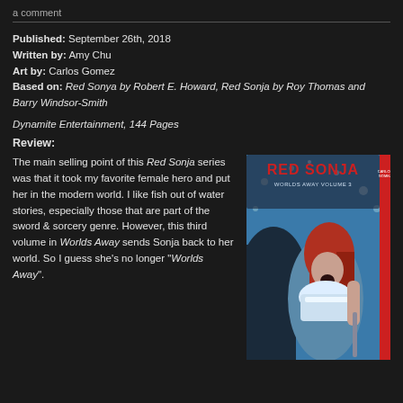a comment
Published: September 26th, 2018
Written by: Amy Chu
Art by: Carlos Gomez
Based on: Red Sonya by Robert E. Howard, Red Sonja by Roy Thomas and Barry Windsor-Smith
Dynamite Entertainment, 144 Pages
Review:
The main selling point of this Red Sonja series was that it took my favorite female hero and put her in the modern world. I like fish out of water stories, especially those that are part of the sword & sorcery genre. However, this third volume in Worlds Away sends Sonja back to her world. So I guess she's no longer “Worlds Away”.
[Figure (illustration): Cover of Red Sonja: Worlds Away Volume 3, showing Red Sonja screaming with red hair and white fur costume, surrounded by ice/snow and a dark figure, with RED SONJA title text at top and a red spine strip on the right.]